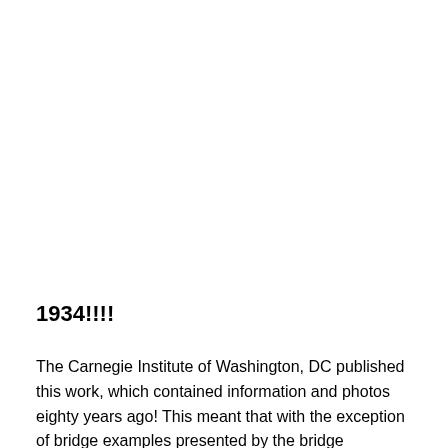1934!!!!
The Carnegie Institute of Washington, DC published this work, which contained information and photos eighty years ago! This meant that with the exception of bridge examples presented by the bridge companies, like King,